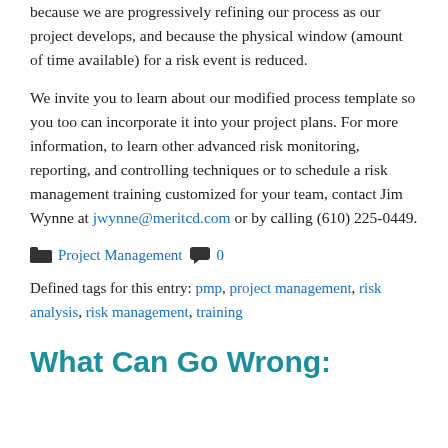because we are progressively refining our process as our project develops, and because the physical window (amount of time available) for a risk event is reduced.
We invite you to learn about our modified process template so you too can incorporate it into your project plans. For more information, to learn other advanced risk monitoring, reporting, and controlling techniques or to schedule a risk management training customized for your team, contact Jim Wynne at jwynne@meritcd.com or by calling (610) 225-0449.
Project Management  0
Defined tags for this entry: pmp, project management, risk analysis, risk management, training
What Can Go Wrong: